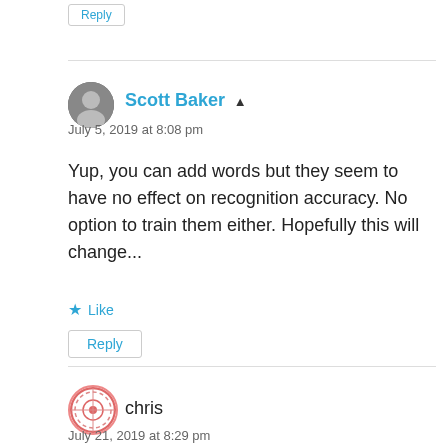Reply
Scott Baker
July 5, 2019 at 8:08 pm
Yup, you can add words but they seem to have no effect on recognition accuracy. No option to train them either. Hopefully this will change...
Like
Reply
chris
July 21, 2019 at 8:29 pm